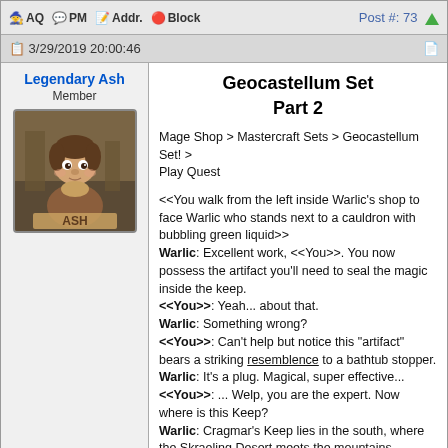AQ PM Addr. Block | Post #: 73
3/29/2019 20:00:46
Geocastellum Set
Part 2
Mage Shop > Mastercraft Sets > Geocastellum Set! > Play Quest
<<You walk from the left inside Warlic's shop to face Warlic who stands next to a cauldron with bubbling green liquid>>
Warlic: Excellent work, <<You>>. You now possess the artifact you'll need to seal the magic inside the keep.
<<You>>: Yeah... about that.
Warlic: Something wrong?
<<You>>: Can't help but notice this "artifact" bears a striking resemblence to a bathtub stopper.
Warlic: It's a plug. Magical, super effective...
<<You>>: ... Welp, you are the expert. Now where is this Keep?
Warlic: Cragmar's Keep lies in the south, where the Skraeling Desert meets the mountains. Cragmar did not like visitors so his Keep rests atop a remote mountain.
<<You>>: Good thing these quests only come around once a year. First I'm toiling in a mine, threatening to get blown to pieces - I watched your nephew nearly get eaten!
<<You>>: And now I'm going to have to climb some remote mountain in search of this Battlemage's Keep?
Warlic: This could indeed be a very difficult journey. Not to worry <<You>>, I will accompany you and aid your travel.